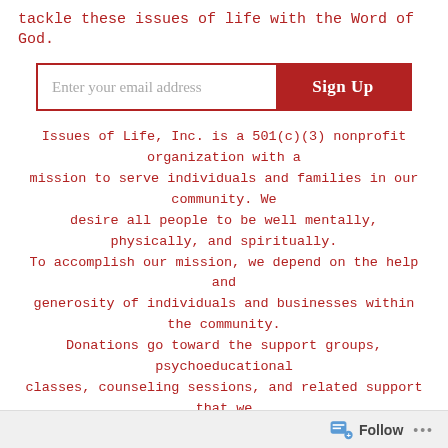tackle these issues of life with the Word of God.
[Figure (other): Email signup form with text input field 'Enter your email address' and a red 'Sign Up' button]
Issues of Life, Inc. is a 501(c)(3) nonprofit organization with a mission to serve individuals and families in our community. We desire all people to be well mentally, physically, and spiritually. To accomplish our mission, we depend on the help and generosity of individuals and businesses within the community. Donations go toward the support groups, psychoeducational classes, counseling sessions, and related support that we provide to those in need. Donations in any amount are most appreciated and make a huge difference! Thank you in advance for your donation!
EVERY DONATION IS TAX DEDUCTIBLE
Follow ...